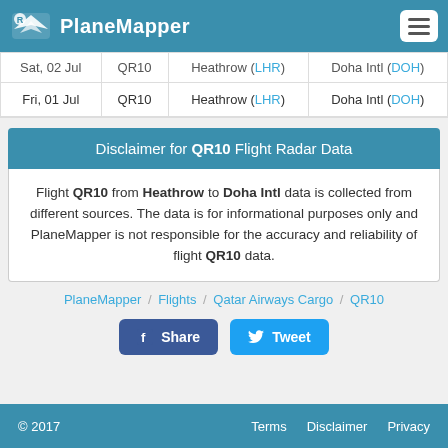PlaneMapper
| Date | Flight | From | To |
| --- | --- | --- | --- |
| Sat, 02 Jul | QR10 | Heathrow (LHR) | Doha Intl (DOH) |
| Fri, 01 Jul | QR10 | Heathrow (LHR) | Doha Intl (DOH) |
Disclaimer for QR10 Flight Radar Data
Flight QR10 from Heathrow to Doha Intl data is collected from different sources. The data is for informational purposes only and PlaneMapper is not responsible for the accuracy and reliability of flight QR10 data.
PlaneMapper / Flights / Qatar Airways Cargo / QR10
© 2017   Terms   Disclaimer   Privacy